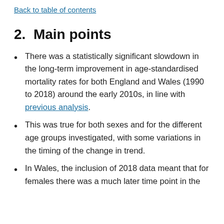Back to table of contents
2.  Main points
There was a statistically significant slowdown in the long-term improvement in age-standardised mortality rates for both England and Wales (1990 to 2018) around the early 2010s, in line with previous analysis.
This was true for both sexes and for the different age groups investigated, with some variations in the timing of the change in trend.
In Wales, the inclusion of 2018 data meant that for females there was a much later time point in the